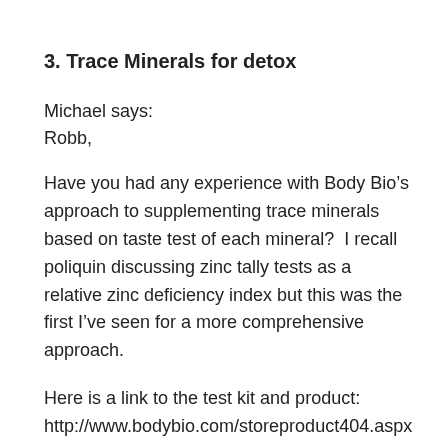3.  Trace Minerals for detox
Michael says:
Robb,
Have you had any experience with Body Bio’s approach to supplementing trace minerals based on taste test of each mineral?  I recall poliquin discussing zinc tally tests as a relative zinc deficiency index but this was the first I’ve seen for a more comprehensive approach.
Here is a link to the test kit and product:
http://www.bodybio.com/storeproduct404.aspx